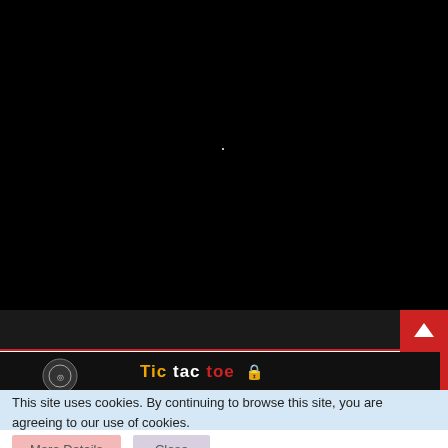[Figure (screenshot): Black video/content area with a faint white dot near center]
[Figure (screenshot): Dark navigation bar with red scroll-up and scroll-down arrow buttons on the right side]
[Figure (screenshot): Dark panel showing a circular logo on the left and 'Tic tac toe' title in orange, white, and red with a lock icon]
This site uses cookies. By continuing to browse this site, you are agreeing to our use of cookies.
More Details
Close